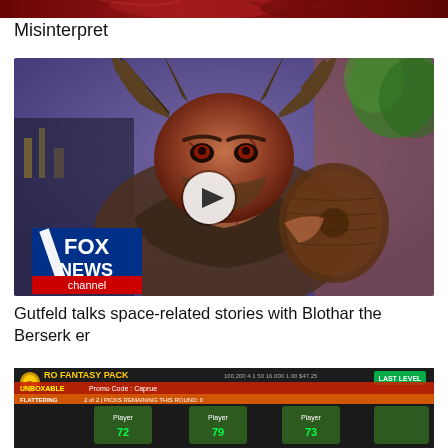[Figure (screenshot): Partial top image showing dark red/maroon background with stylized character artwork, cropped at top of page]
Misinterpret
[Figure (screenshot): Video thumbnail showing a horned demonic creature (Blothar the Berserker) seated in a TV studio setting with a purple background, Fox News channel logo in the lower left corner, and a white circular play button overlay in the center]
Gutfeld talks space-related stories with Blothar the Berserker
[Figure (screenshot): Partial screenshot of a fantasy sports or gaming interface titled 'PRO FANTASY PACK' with promo code 'Caprue', showing player cards at bottom and various scores/stats in the header area]